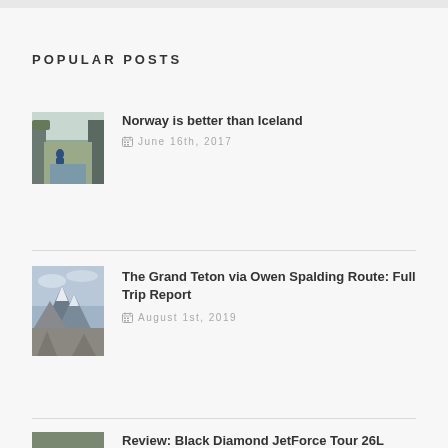POPULAR POSTS
Norway is better than Iceland — June 16th, 2017
The Grand Teton via Owen Spalding Route: Full Trip Report — August 1st, 2019
Review: Black Diamond JetForce Tour 26L Avalanche Airbag